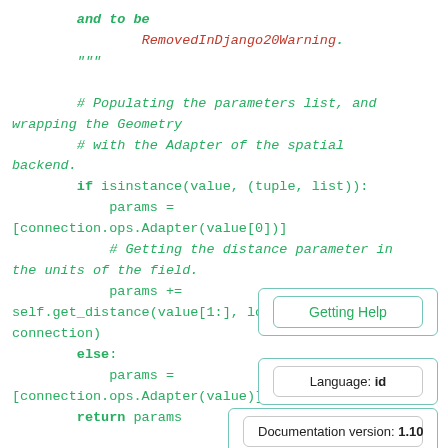Code snippet showing Python Django source code with comments and keywords including: 'and to be RemovedInDjango20Warning.', triple-quote string, comments about populating parameters list, wrapping geometry with adapter, isinstance check, params assignment with connection.ops.Adapter, getting distance parameter, params +=, self.get_distance, else branch, return params.
Getting Help
Language: id
Documentation version: 1.10